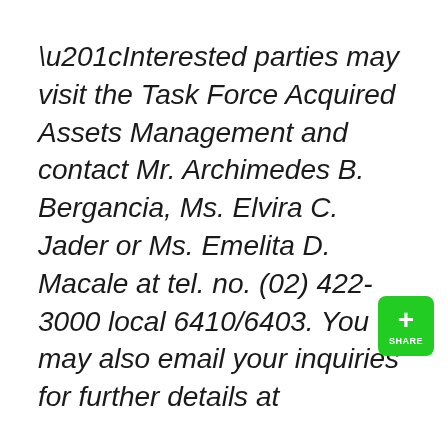“Interested parties may visit the Task Force Acquired Assets Management and contact Mr. Archimedes B. Bergancia, Ms. Elvira C. Jader or Ms. Emelita D. Macale at tel. no. (02) 422-3000 local 6410/6403. You may also email your inquiries for further details at
[Figure (other): Green share button with a plus sign and the label SHARE]